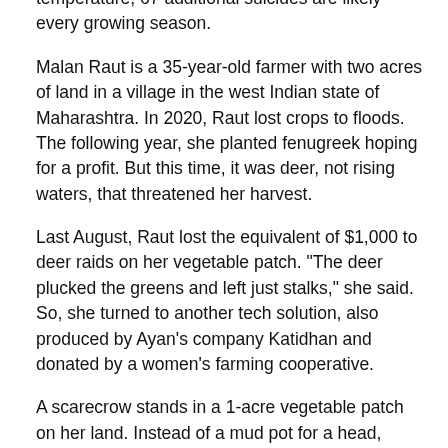temperature, 67 additional suicides are likely every growing season.
Malan Raut is a 35-year-old farmer with two acres of land in a village in the west Indian state of Maharashtra. In 2020, Raut lost crops to floods. The following year, she planted fenugreek hoping for a profit. But this time, it was deer, not rising waters, that threatened her harvest.
Last August, Raut lost the equivalent of $1,000 to deer raids on her vegetable patch. "The deer plucked the greens and left just stalks," she said. So, she turned to another tech solution, also produced by Ayan's company Katidhan and donated by a women's farming cooperative.
A scarecrow stands in a 1-acre vegetable patch on her land. Instead of a mud pot for a head, there's a boxy